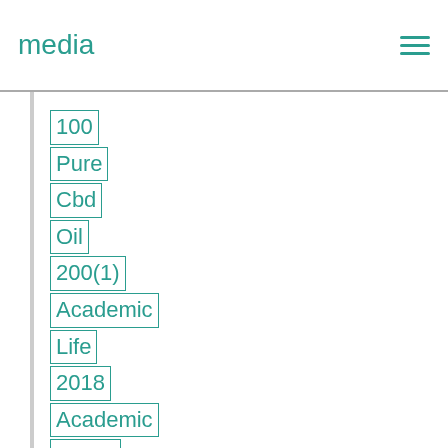media
100
Pure
Cbd
Oil
200(1)
Academic
Life
2018
Academic
Paper
writing
service
Action
Movies
Affordable